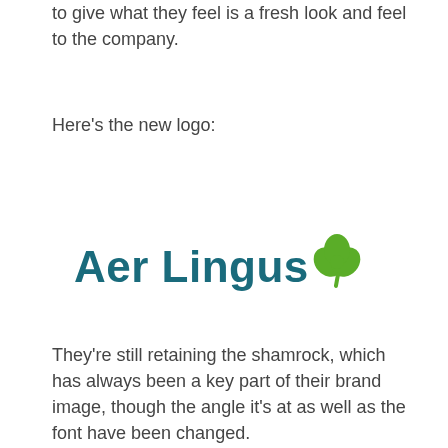to give what they feel is a fresh look and feel to the company.
Here's the new logo:
[Figure (logo): Aer Lingus logo with teal/dark cyan wordmark and green shamrock icon]
They're still retaining the shamrock, which has always been a key part of their brand image, though the angle it's at as well as the font have been changed.